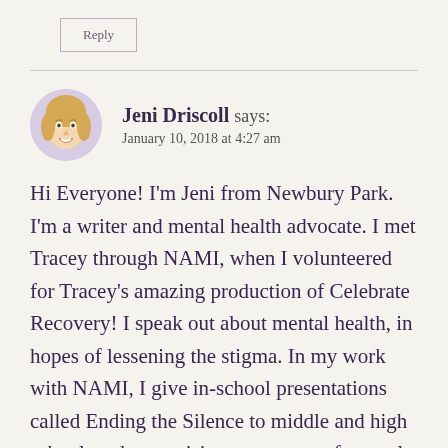Reply
Jeni Driscoll says:
January 10, 2018 at 4:27 am
Hi Everyone! I'm Jeni from Newbury Park. I'm a writer and mental health advocate. I met Tracey through NAMI, when I volunteered for Tracey's amazing production of Celebrate Recovery! I speak out about mental health, in hopes of lessening the stigma. In my work with NAMI, I give in-school presentations called Ending the Silence to middle and high school students, raising awareness of mental